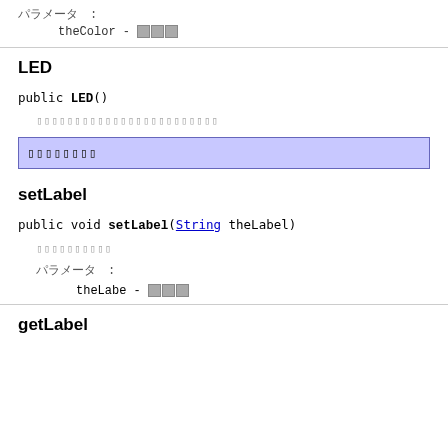パラメータ: theColor - 色
LED
public LED()
LEDオブジェクトのデフォルトコンストラクタ
メソッドの概要
setLabel
public void setLabel(String theLabel)
ラベルを設定
パラメータ: theLabe - 値
getLabel